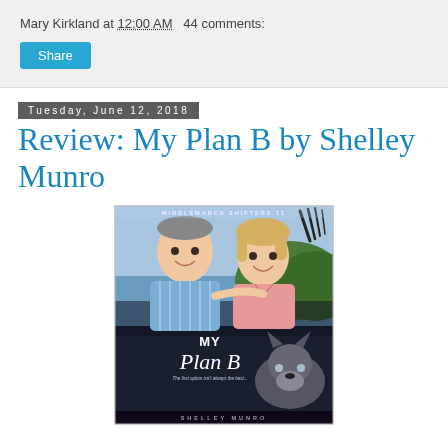Mary Kirkland at 12:00 AM   44 comments:
Share
Tuesday, June 12, 2018
Review: My Plan B by Shelley Munro
[Figure (photo): Book cover of 'My Plan B' by Shelley Munro. Part of the Middlemarch Shifters 11 series. Shows a smiling middle-aged couple (man in blue striped shirt, woman in pink) with a coastal cliff background, and a wolf in the foreground on a dark background. Title text reads 'MY Plan B' with tagline 'The first option isn't always the best...']